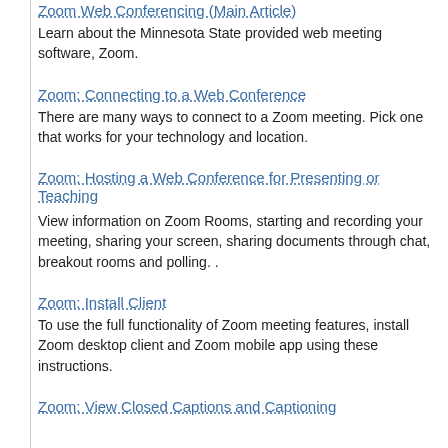Zoom Web Conferencing (Main Article)
Learn about the Minnesota State provided web meeting software, Zoom.
Zoom: Connecting to a Web Conference
There are many ways to connect to a Zoom meeting. Pick one that works for your technology and location.
Zoom: Hosting a Web Conference for Presenting or Teaching
View information on Zoom Rooms, starting and recording your meeting, sharing your screen, sharing documents through chat, breakout rooms and polling. .
Zoom: Install Client
To use the full functionality of Zoom meeting features, install Zoom desktop client and Zoom mobile app using these instructions.
Zoom: View Closed Captions and Captioning